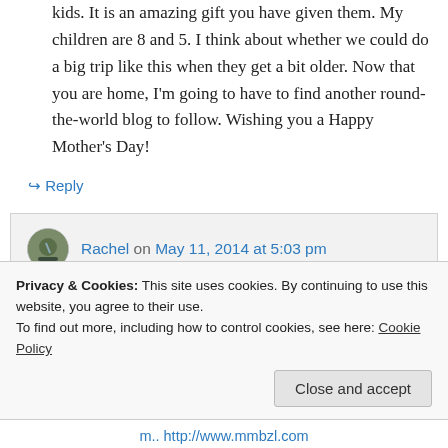kids. It is an amazing gift you have given them. My children are 8 and 5. I think about whether we could do a big trip like this when they get a bit older. Now that you are home, I'm going to have to find another round-the-world blog to follow. Wishing you a Happy Mother's Day!
↪ Reply
Rachel on May 11, 2014 at 5:03 pm
Privacy & Cookies: This site uses cookies. By continuing to use this website, you agree to their use. To find out more, including how to control cookies, see here: Cookie Policy
Close and accept
m.. http://www.mmbzl.com